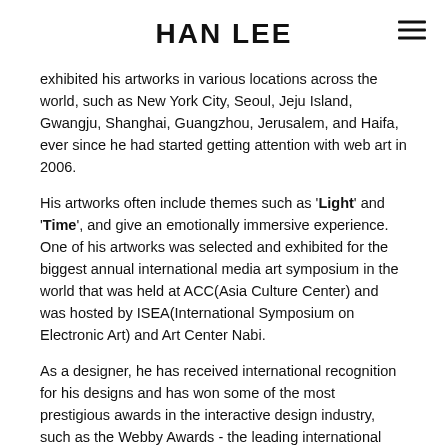HAN LEE
exhibited his artworks in various locations across the world, such as New York City, Seoul, Jeju Island, Gwangju, Shanghai, Guangzhou, Jerusalem, and Haifa, ever since he had started getting attention with web art in 2006.
His artworks often include themes such as 'Light' and 'Time', and give an emotionally immersive experience. One of his artworks was selected and exhibited for the biggest annual international media art symposium in the world that was held at ACC(Asia Culture Center) and was hosted by ISEA(International Symposium on Electronic Art) and Art Center Nabi.
As a designer, he has received international recognition for his designs and has won some of the most prestigious awards in the interactive design industry, such as the Webby Awards - the leading international award honoring excellence on the Internet. Also, his works were featured in many books and media including the TASCHEN book. He gives his thoughts to the world through his artwork, designs, lectures, interviews, and